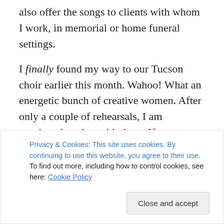also offer the songs to clients with whom I work, in memorial or home funeral settings.
I finally found my way to our Tucson choir earlier this month. Wahoo! What an energetic bunch of creative women. After only a couple of rehearsals, I am overjoyed to sing with them. If you are not familiar with this group, here is an introductory video that gives you a chance to listen.
If you check out the video, you'll meet Kate Munger, the founder and lead director of Threshold Choir. She is an
Privacy & Cookies: This site uses cookies. By continuing to use this website, you agree to their use. To find out more, including how to control cookies, see here: Cookie Policy
Close and accept